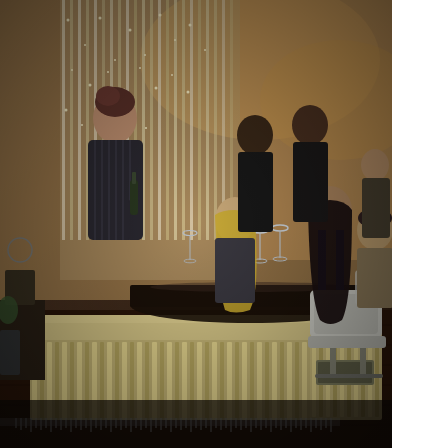[Figure (photo): Interior of an upscale restaurant. A waitress in a dark striped jacket stands on the left serving a table. Several diners are seated at a dark table in the center and right of the image, with wine glasses visible. Two men in black stand in the background. The space features warm lighting, vertical slatted wooden panels forming a room divider/host stand in the foreground, and a dark hardwood floor. The overall atmosphere is elegant and dimly lit.]